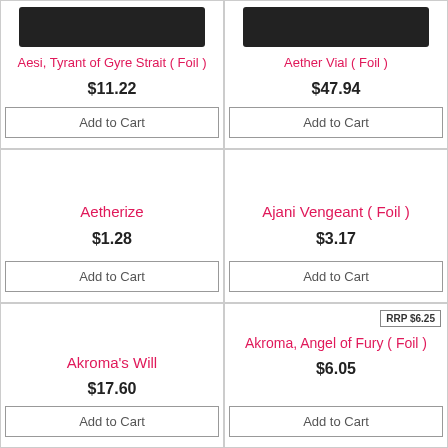[Figure (photo): Card image for Aesi, Tyrant of Gyre Strait (Foil)]
Aesi, Tyrant of Gyre Strait ( Foil )
$11.22
Add to Cart
[Figure (photo): Card image for Aether Vial (Foil)]
Aether Vial ( Foil )
$47.94
Add to Cart
Aetherize
$1.28
Add to Cart
Ajani Vengeant ( Foil )
$3.17
Add to Cart
Akroma's Will
$17.60
Add to Cart
RRP $6.25
Akroma, Angel of Fury ( Foil )
$6.05
Add to Cart